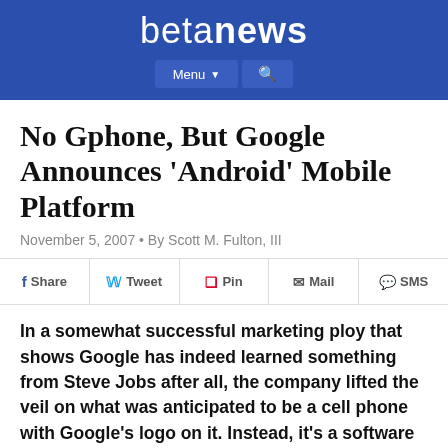betanews
No Gphone, But Google Announces 'Android' Mobile Platform
November 5, 2007 • By Scott M. Fulton, III
Share  Tweet  Pin  Mail  SMS
In a somewhat successful marketing ploy that shows Google has indeed learned something from Steve Jobs after all, the company lifted the veil on what was anticipated to be a cell phone with Google's logo on it. Instead, it's a software…